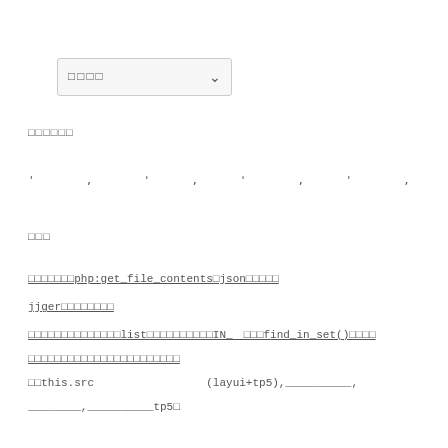[Figure (screenshot): Dropdown UI widget showing placeholder text and a chevron arrow]
□□□□□□
' , ' , ' , ' , ' , ' ,
□□□
□□□□□□□php:get_file_contents□json□□□□□
jjger□□□□□□□□
□□□□□□□□□□□□□□list□□□□□□□□□□IN_ □□□find_in_set()□□□□
□□□□□□□□□□□□□□□□□□□□□□□
□□this.src _________________(layui+tp5),__________,
________,__________tp5□